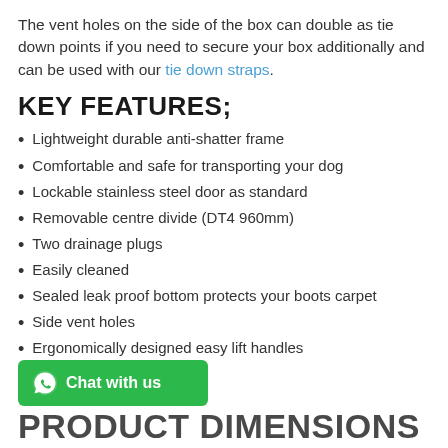The vent holes on the side of the box can double as tie down points if you need to secure your box additionally and can be used with our tie down straps.
KEY FEATURES;
Lightweight durable anti-shatter frame
Comfortable and safe for transporting your dog
Lockable stainless steel door as standard
Removable centre divide (DT4 960mm)
Two drainage plugs
Easily cleaned
Sealed leak proof bottom protects your boots carpet
Side vent holes
Ergonomically designed easy lift handles
[Figure (other): WhatsApp Chat with us button (green rounded rectangle with WhatsApp icon)]
PRODUCT DIMENSIONS